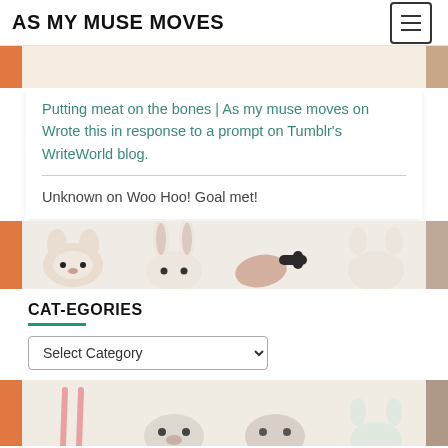AS MY MUSE MOVES
Putting meat on the bones | As my muse moves on Wrote this in response to a prompt on Tumblr's WriteWorld blog.
Unknown on Woo Hoo! Goal met!
[Figure (illustration): Decorative horizontal strip showing illustrated cats peeking, in muted beige and pink tones]
CAT-EGORIES
Select Category (dropdown)
[Figure (illustration): Decorative horizontal strip showing illustrated animals/cats in muted tones]
ALL THE TAGS